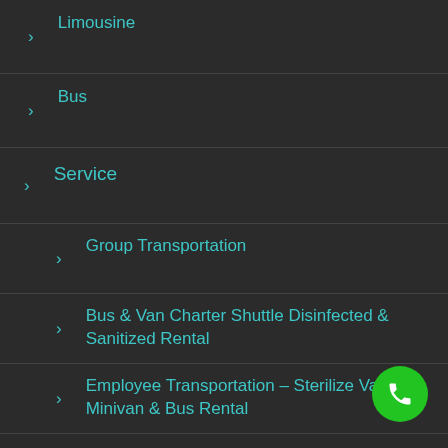Limousine
Bus
Service
Group Transportation
Bus & Van Charter Shuttle Disinfected & Sanitized Rental
Employee Transportation – Sterilize Van, Minivan & Bus Rental
Charter Bus, Van & Limo – Covid 19 Free Sanitize Transportation | NYC Service
Party Bus Rental
First Responders Transportation
On A Budget